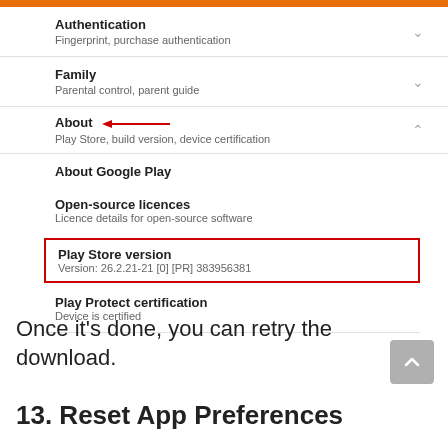[Figure (screenshot): Google Play Store settings screenshot showing menu items: Authentication (Fingerprint, purchase authentication), Family (Parental control, parent guide), About (Play Store, build version, device certification) with red arrow annotation, About Google Play, Open-source licences (Licence details for open-source software), Play Store version (Version: 26.2.21-21 [0] [PR] 383956381) highlighted in red box, Play Protect certification (Device is certified)]
Once it's done, you can retry the download.
13. Reset App Preferences